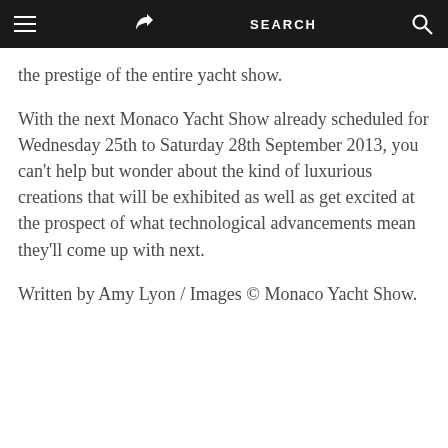≡  [share icon]  SEARCH  [search icon]
the prestige of the entire yacht show.
With the next Monaco Yacht Show already scheduled for Wednesday 25th to Saturday 28th September 2013, you can't help but wonder about the kind of luxurious creations that will be exhibited as well as get excited at the prospect of what technological advancements mean they'll come up with next.
Written by Amy Lyon / Images © Monaco Yacht Show.